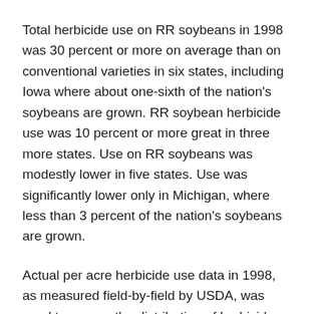Total herbicide use on RR soybeans in 1998 was 30 percent or more on average than on conventional varieties in six states, including Iowa where about one-sixth of the nation's soybeans are grown. RR soybean herbicide use was 10 percent or more great in three more states. Use on RR soybeans was modestly lower in five states. Use was significantly lower only in Michigan, where less than 3 percent of the nation's soybeans are grown.
Actual per acre herbicide use data in 1998, as measured field-by-field by USDA, was used to assess the distribution of herbicide use along a continuum from the most herbicide dependent systems to the least dependent. On the 30 percent of soybean fields managed with the most herbicide-intensive systems